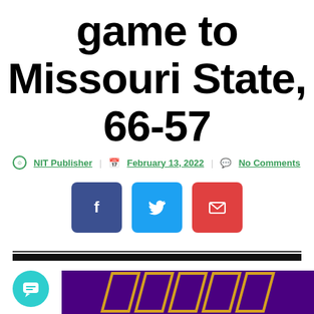game to Missouri State, 66-57
NIT Publisher  February 13, 2022  No Comments
[Figure (infographic): Social share buttons: Facebook (dark blue), Twitter (light blue), Email (red)]
[Figure (infographic): Horizontal divider lines (thin dark line above thick black band)]
[Figure (infographic): Teal circular chat icon at bottom left, purple banner with gold diagonal stripes at bottom right]